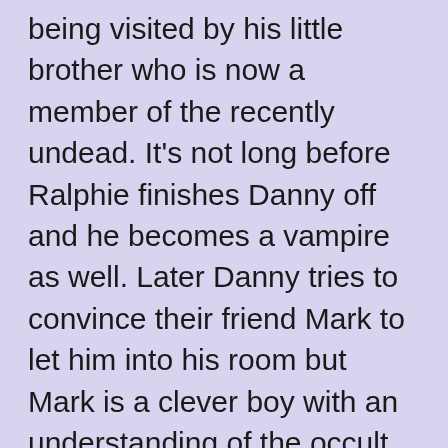being visited by his little brother who is now a member of the recently undead. It's not long before Ralphie finishes Danny off and he becomes a vampire as well. Later Danny tries to convince their friend Mark to let him into his room but Mark is a clever boy with an understanding of the occult and refuses to allow Danny to enter. This however does not keep the two brothers from wreaking havoc throughout Salem's Lot, including attacking their own parents. Ralphie and Danny Glick were first played by Ronnie Scribner and Brad Savage in the 1979 version and Zac